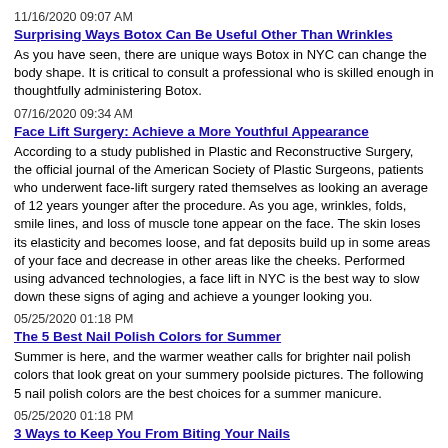11/16/2020 09:07 AM
Surprising Ways Botox Can Be Useful Other Than Wrinkles
As you have seen, there are unique ways Botox in NYC can change the body shape. It is critical to consult a professional who is skilled enough in thoughtfully administering Botox.
07/16/2020 09:34 AM
Face Lift Surgery: Achieve a More Youthful Appearance
According to a study published in Plastic and Reconstructive Surgery, the official journal of the American Society of Plastic Surgeons, patients who underwent face-lift surgery rated themselves as looking an average of 12 years younger after the procedure. As you age, wrinkles, folds, smile lines, and loss of muscle tone appear on the face. The skin loses its elasticity and becomes loose, and fat deposits build up in some areas of your face and decrease in other areas like the cheeks. Performed using advanced technologies, a face lift in NYC is the best way to slow down these signs of aging and achieve a younger looking you.
05/25/2020 01:18 PM
The 5 Best Nail Polish Colors for Summer
Summer is here, and the warmer weather calls for brighter nail polish colors that look great on your summery poolside pictures. The following 5 nail polish colors are the best choices for a summer manicure.
05/25/2020 01:18 PM
3 Ways to Keep You From Biting Your Nails
Many people bite their nails without even noticing when they are stressed out,